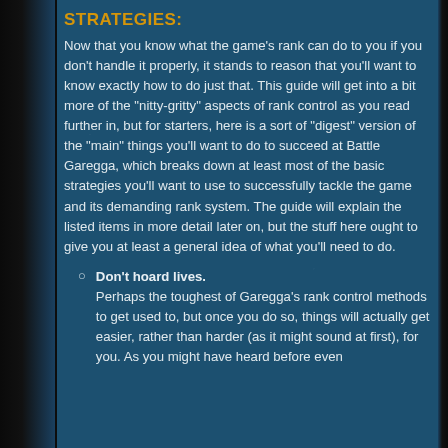STRATEGIES:
Now that you know what the game's rank can do to you if you don't handle it properly, it stands to reason that you'll want to know exactly how to do just that. This guide will get into a bit more of the "nitty-gritty" aspects of rank control as you read further in, but for starters, here is a sort of "digest" version of the "main" things you'll want to do to succeed at Battle Garegga, which breaks down at least most of the basic strategies you'll want to use to successfully tackle the game and its demanding rank system. The guide will explain the listed items in more detail later on, but the stuff here ought to give you at least a general idea of what you'll need to do.
Don't hoard lives. Perhaps the toughest of Garegga's rank control methods to get used to, but once you do so, things will actually get easier, rather than harder (as it might sound at first), for you. As you might have heard before even